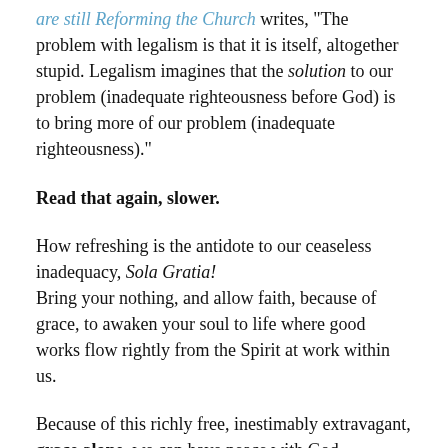are still Reforming the Church writes, "The problem with legalism is that it is itself, altogether stupid. Legalism imagines that the solution to our problem (inadequate righteousness before God) is to bring more of our problem (inadequate righteousness)."
Read that again, slower.
How refreshing is the antidote to our ceaseless inadequacy, Sola Gratia!
Bring your nothing, and allow faith, because of grace, to awaken your soul to life where good works flow rightly from the Spirit at work within us.
Because of this richly free, inestimably extravagant, grace alone, we can have peace with God.
When we trade our sin-sick efforts to earn God’s favor or become a better version of ourselves on our own.
When we surrender our total inability to become righteous to the God of all righteousness.
When we lay down our insistence that we can do where God